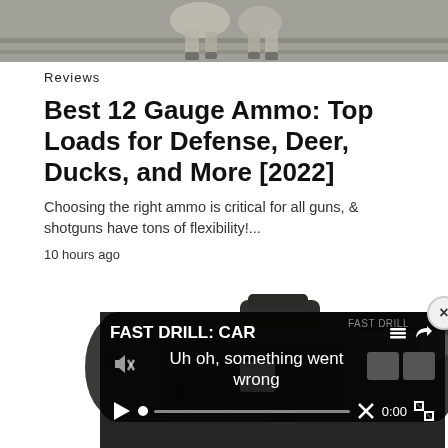[Figure (photo): Partial view of an animal (deer hooves/legs) on what appears to be a wooden surface, cropped at the top of the page]
Reviews
Best 12 Gauge Ammo: Top Loads for Defense, Deer, Ducks, and More [2022]
Choosing the right ammo is critical for all guns, & shotguns have tons of flexibility!...
10 hours ago
[Figure (photo): A tactical rifle buttstock/stock accessory shown in dark gray/black, with adjustable features visible]
[Figure (screenshot): Video player overlay showing error message 'Uh oh, something went wrong' with title 'FAST DRILL: CAR...' and playback controls. Has a close (x) button.]